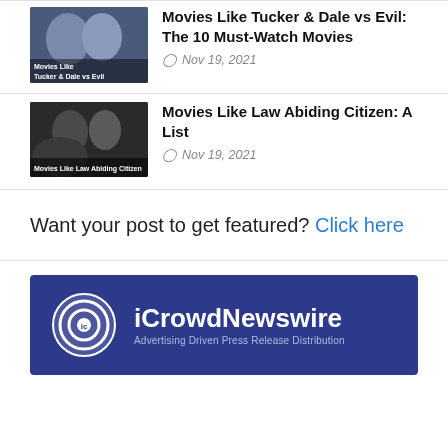[Figure (photo): Thumbnail image for 'Movies Like Tucker & Dale vs Evil' article with overlay text]
Movies Like Tucker & Dale vs Evil: The 10 Must-Watch Movies
Nov 19, 2021
[Figure (photo): Thumbnail image for 'Movies Like Law Abiding Citizen' article with overlay text]
Movies Like Law Abiding Citizen: A List
Nov 19, 2021
Want your post to get featured? Click here
[Figure (logo): iCrowdNewswire logo — Advertising Driven Press Release Distribution]